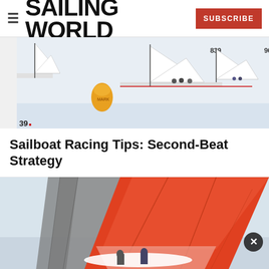SAILING WORLD
[Figure (photo): Multiple sailboats racing on water, with numbered sails (839, 96, 39) and an orange buoy marker visible. Crew members visible on boats.]
Sailboat Racing Tips: Second-Beat Strategy
[Figure (photo): Close-up of a sailboat with a large orange/red spinnaker sail deployed, with crew visible, sailing on water.]